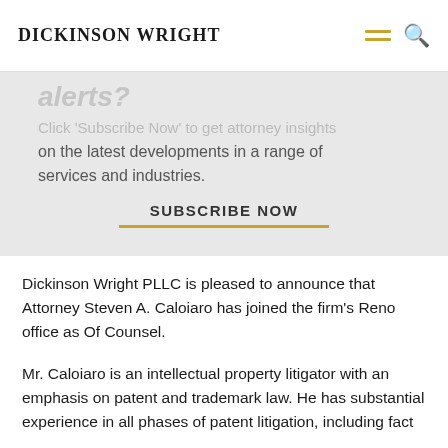[Figure (logo): Dickinson Wright law firm logo with wordmark]
Click 'Subscribe Now' to get attorney insights on the latest developments in a range of services and industries.
SUBSCRIBE NOW
Dickinson Wright PLLC is pleased to announce that Attorney Steven A. Caloiaro has joined the firm's Reno office as Of Counsel.
Mr. Caloiaro is an intellectual property litigator with an emphasis on patent and trademark law. He has substantial experience in all phases of patent litigation, including fact